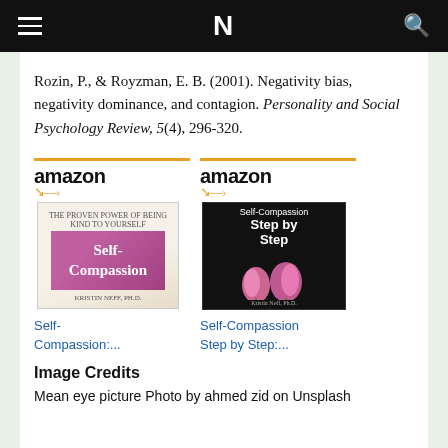N
Rozin, P., & Royzman, E. B. (2001). Negativity bias, negativity dominance, and contagion. Personality and Social Psychology Review, 5(4), 296-320.
[Figure (photo): Amazon banner with Self-Compassion book cover (pink/purple cover)]
[Figure (photo): Amazon banner with Self-Compassion Step by Step book cover (black cover with tulips)]
Self-Compassion:...
Self-Compassion Step by Step:...
Image Credits
Mean eye picture Photo by ahmed zid on Unsplash